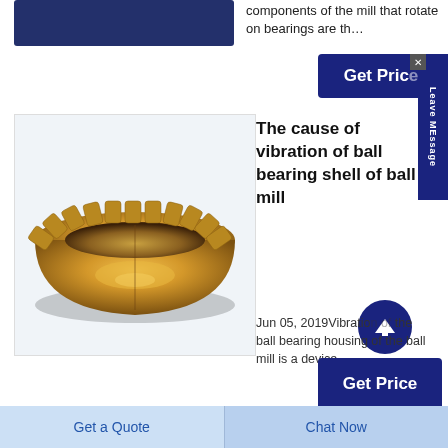components of the mill that rotate on bearings are th…
[Figure (other): Dark blue rectangular image/banner at top left]
[Figure (photo): Bronze/gold ball mill bearing shell (babbitt bearing) component, bowl-shaped with scalloped edges, metallic golden color]
The cause of vibration of ball bearing shell of ball mill
Jun 05, 2019Vibration of the ball bearing housing of the ball mill is a device…
[Figure (other): Get Price button (dark navy blue)]
[Figure (other): Get Price button (dark navy blue, bottom)]
[Figure (other): Leave MEssage vertical tab on right side]
Get a Quote
Chat Now